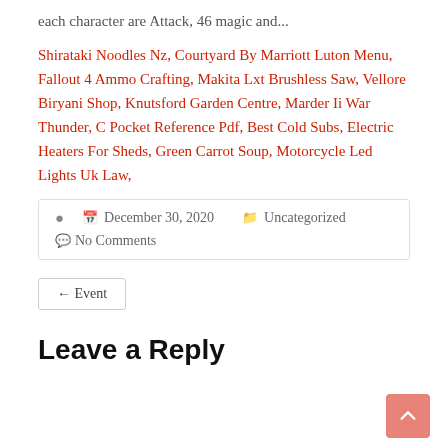each character are Attack, 46 magic and...
Shirataki Noodles Nz, Courtyard By Marriott Luton Menu, Fallout 4 Ammo Crafting, Makita Lxt Brushless Saw, Vellore Biryani Shop, Knutsford Garden Centre, Marder Ii War Thunder, C Pocket Reference Pdf, Best Cold Subs, Electric Heaters For Sheds, Green Carrot Soup, Motorcycle Led Lights Uk Law,
December 30, 2020  Uncategorized  No Comments
← Event
Leave a Reply